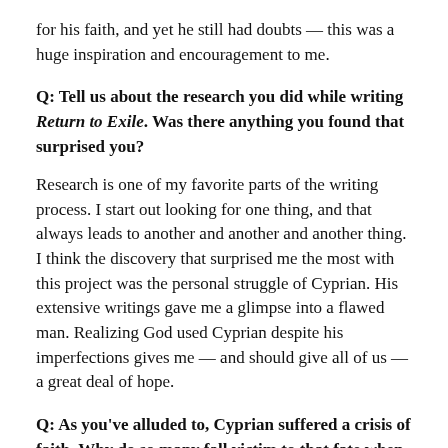for his faith, and yet he still had doubts — this was a huge inspiration and encouragement to me.
Q: Tell us about the research you did while writing Return to Exile. Was there anything you found that surprised you?
Research is one of my favorite parts of the writing process. I start out looking for one thing, and that always leads to another and another and another thing. I think the discovery that surprised me the most with this project was the personal struggle of Cyprian. His extensive writings gave me a glimpse into a flawed man. Realizing God used Cyprian despite his imperfections gives me — and should give all of us — a great deal of hope.
Q: As you've alluded to, Cyprian suffered a crisis of faith. Why do so many fall victim to that fate when their expectations of the Christian life and reality do not match?